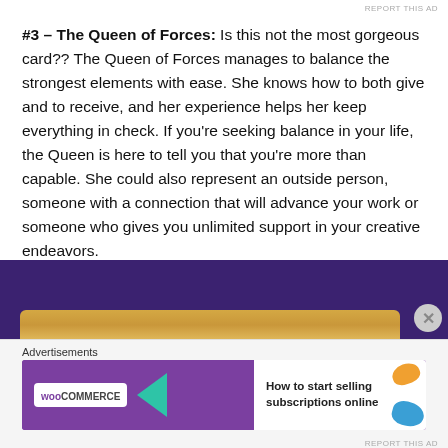REPORT THIS AD
#3 – The Queen of Forces: Is this not the most gorgeous card?? The Queen of Forces manages to balance the strongest elements with ease. She knows how to both give and to receive, and her experience helps her keep everything in check. If you're seeking balance in your life, the Queen is here to tell you that you're more than capable. She could also represent an outside person, someone with a connection that will advance your work or someone who gives you unlimited support in your creative endeavors.
[Figure (photo): Dark purple textured background with a gold/tan colored card or bar element at the bottom]
Advertisements
[Figure (screenshot): WooCommerce advertisement banner: purple left side with WooCommerce logo and teal arrow, white right side with text 'How to start selling subscriptions online' and decorative orange and blue shapes]
REPORT THIS AD